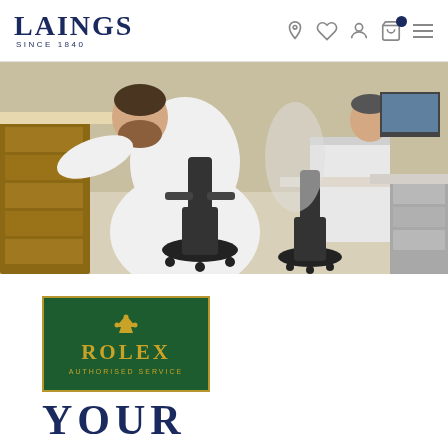LAINGS SINCE 1840 — navigation icons: location, wishlist, account, cart, menu
[Figure (photo): Two watchmakers in white lab coats seated at workbenches in a watch service workshop. The left technician leans over a workbench with drawers, the right technician works at a computer terminal. Black ergonomic chairs, light tile floor, gray cabinetry.]
[Figure (logo): Rolex Authorised Service badge: dark green rectangle with gold border, Rolex crown symbol, 'ROLEX' in gold serif font, 'AUTHORISED SERVICE' in small gold caps below.]
YOUR